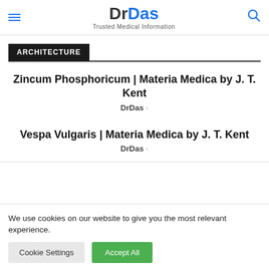DrDas – Trusted Medical Information
ARCHITECTURE
Zincum Phosphoricum | Materia Medica by J. T. Kent
DrDas -
Vespa Vulgaris | Materia Medica by J. T. Kent
DrDas -
We use cookies on our website to give you the most relevant experience.